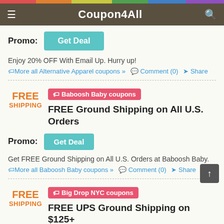Coupon4All
Promo: Get Deal
Enjoy 20% OFF With Email Up. Hurry up!
More all Alternative Apparel coupons » Comment (0) Share
[Figure (other): FREE SHIPPING badge for Baboosh Baby coupons coupon card]
FREE Ground Shipping on All U.S. Orders
Promo: Get Deal
Get FREE Ground Shipping on All U.S. Orders at Baboosh Baby.
More all Baboosh Baby coupons » Comment (0) Share
[Figure (other): FREE SHIPPING badge for Big Drop NYC coupons coupon card]
FREE UPS Ground Shipping on $125+